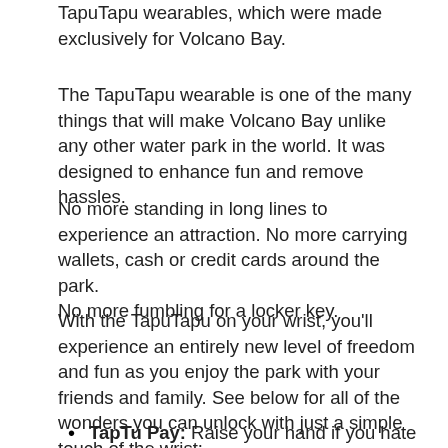TapuTapu wearables, which were made exclusively for Volcano Bay.
The TapuTapu wearable is one of the many things that will make Volcano Bay unlike any other water park in the world. It was designed to enhance fun and remove hassles.
No more standing in long lines to experience an attraction. No more carrying wallets, cash or credit cards around the park.
No more fumbling for a locker key.
With the TapuTapu on your wrist, you'll experience an entirely new level of freedom and fun as you enjoy the park with your friends and family. See below for all of the wonders you can unlock with just a simple touch of the wrist:
TapTu Pay: Raise your hand if you hate handling wet money and credit cards! Well, you don't have to worry